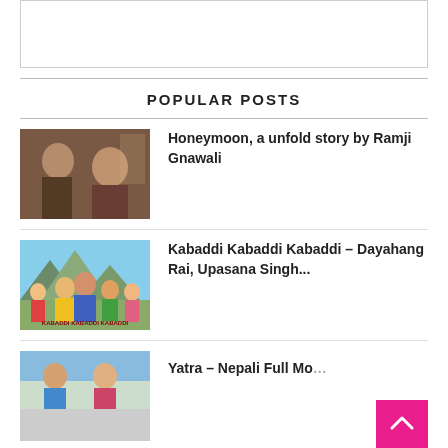[Figure (other): Empty box / advertisement placeholder at top of page]
POPULAR POSTS
[Figure (photo): Photo of two people (man and woman) from a Nepali film - Honeymoon]
Honeymoon, a unfold story by Ramji Gnawali
[Figure (photo): Movie poster for Kabaddi Kabaddi Kabaddi featuring group of actors]
Kabaddi Kabaddi Kabaddi – Dayahang Rai, Upasana Singh...
[Figure (photo): Partial photo for Yatra – Nepali Full Movie post]
Yatra – Nepali Full Mo...